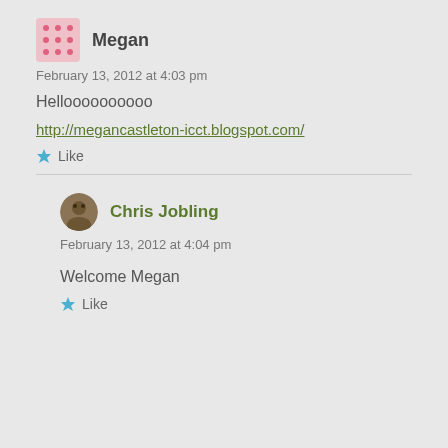Megan
February 13, 2012 at 4:03 pm
Helloooooooooo
http://megancastleton-icct.blogspot.com/
Like
Chris Jobling
February 13, 2012 at 4:04 pm
Welcome Megan
Like